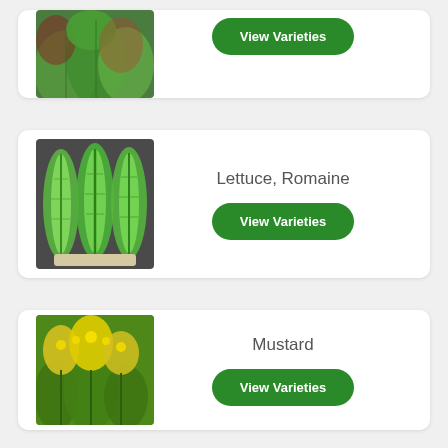[Figure (photo): Partial view of green leafy lettuce plant from top card (cut off at top)]
[Figure (photo): Three romaine lettuce heads laid flat on a dark surface]
Lettuce, Romaine
View Varieties
[Figure (photo): Mustard plant with yellow flowers in a field]
Mustard
View Varieties